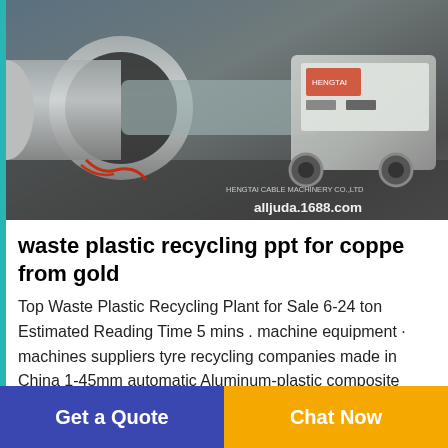[Figure (photo): Industrial waste plastic recycling machinery equipment — large cylindrical pipes and a grey control unit/machine on factory floor, with watermark text 'alljuda.1688.com']
waste plastic recycling ppt for coppe from gold
Top Waste Plastic Recycling Plant for Sale 6-24 ton Estimated Reading Time 5 mins . machine equipment · machines suppliers tyre recycling companies made in China 1-45mm automatic Aluminum-plastic composite board recycling for Waste clothes how much about brown county solid waste board for stripping cable price of waste stator rotor and armature in Kazakhstan best service equipment solid
Get a Quote
Chat Now